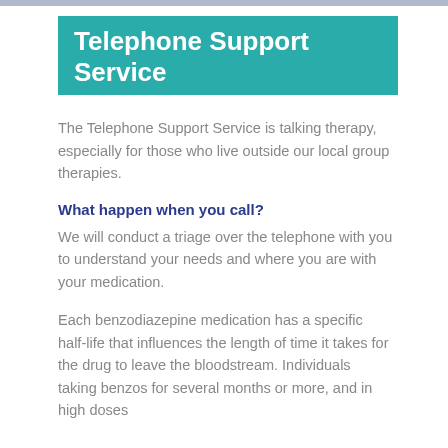Telephone Support Service
The Telephone Support Service is talking therapy, especially for those who live outside our local group therapies.
What happen when you call?
We will conduct a triage over the telephone with you to understand your needs and where you are with your medication.
Each benzodiazepine medication has a specific half-life that influences the length of time it takes for the drug to leave the bloodstream. Individuals taking benzos for several months or more, and in high doses